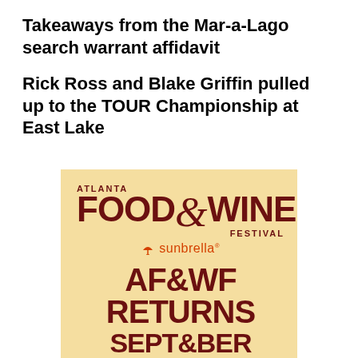Takeaways from the Mar-a-Lago search warrant affidavit
Rick Ross and Blake Griffin pulled up to the TOUR Championship at East Lake
[Figure (logo): Atlanta Food & Wine Festival logo with Sunbrella sponsorship and AF&WF RETURNS text on a gold/tan background]